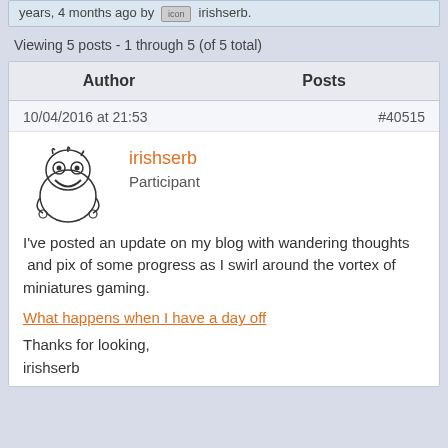years, 4 months ago by [avatar] irishserb
Viewing 5 posts - 1 through 5 (of 5 total)
| Author | Posts |
| --- | --- |
| 10/04/2016 at 21:53 | #40515 |
| irishserb
Participant | I've posted an update on my blog with wandering thoughts  and pix of some progress as I swirl around the vortex of miniatures gaming.

What happens when I have a day off

Thanks for looking,

irishserb |
I've posted an update on my blog with wandering thoughts  and pix of some progress as I swirl around the vortex of miniatures gaming.
What happens when I have a day off
Thanks for looking,
irishserb